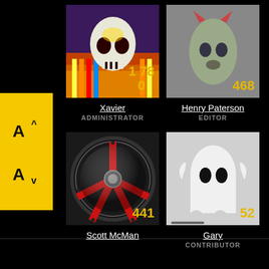[Figure (screenshot): Font size increase/decrease UI button (yellow panel with A^ and Av)]
[Figure (photo): Skull psychedelic artwork (Xavier's avatar), count 1780]
Xavier
ADMINISTRATOR
[Figure (photo): Demonic creature artwork (Henry Paterson's avatar), count 468]
Henry Paterson
EDITOR
[Figure (photo): Black and red racing wheel (Scott McMan's avatar), count 441]
Scott McMan
[Figure (photo): Ghost costume photo (Gary's avatar), count 52]
Gary
CONTRIBUTOR